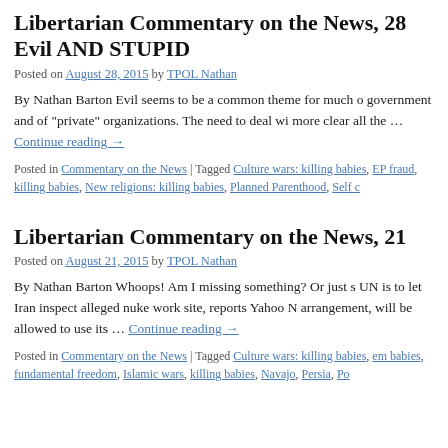Libertarian Commentary on the News, 28 Evil AND STUPID
Posted on August 28, 2015 by TPOL Nathan
By Nathan Barton Evil seems to be a common theme for much of government and of “private” organizations. The need to deal wi more clear all the … Continue reading →
Posted in Commentary on the News | Tagged Culture wars: killing babies, EP fraud, killing babies, New religions: killing babies, Planned Parenthood, Self c
Libertarian Commentary on the News, 21
Posted on August 21, 2015 by TPOL Nathan
By Nathan Barton Whoops! Am I missing something?  Or just s UN is to let Iran inspect alleged nuke work site, reports Yahoo N arrangement, will be allowed to use its … Continue reading →
Posted in Commentary on the News | Tagged Culture wars: killing babies, em babies, fundamental freedom, Islamic wars, killing babies, Navajo, Persia, Po